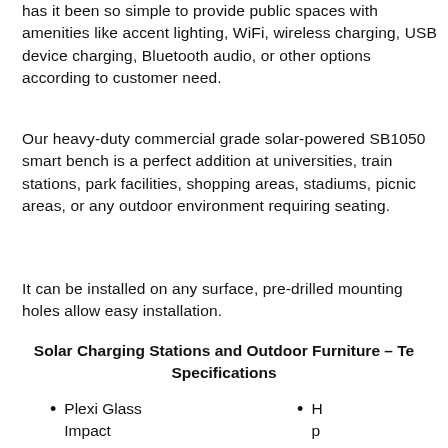has it been so simple to provide public spaces with amenities like accent lighting, WiFi, wireless charging, USB device charging, Bluetooth audio, or other options according to customer need.
Our heavy-duty commercial grade solar-powered SB1050 smart bench is a perfect addition at universities, train stations, park facilities, shopping areas, stadiums, picnic areas, or any outdoor environment requiring seating.
It can be installed on any surface, pre-drilled mounting holes allow easy installation.
Solar Charging Stations and Outdoor Furniture – Technical Specifications
Plexi Glass Impact Resistance PV Module, ETFE-
H p Li (1